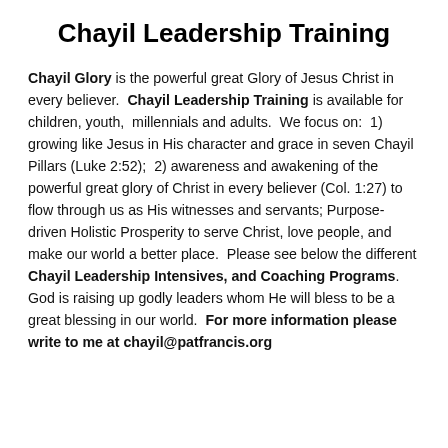Chayil Leadership Training
Chayil Glory is the powerful great Glory of Jesus Christ in every believer. Chayil Leadership Training is available for children, youth, millennials and adults. We focus on: 1) growing like Jesus in His character and grace in seven Chayil Pillars (Luke 2:52); 2) awareness and awakening of the powerful great glory of Christ in every believer (Col. 1:27) to flow through us as His witnesses and servants; Purpose-driven Holistic Prosperity to serve Christ, love people, and make our world a better place. Please see below the different Chayil Leadership Intensives, and Coaching Programs. God is raising up godly leaders whom He will bless to be a great blessing in our world. For more information please write to me at chayil@patfrancis.org